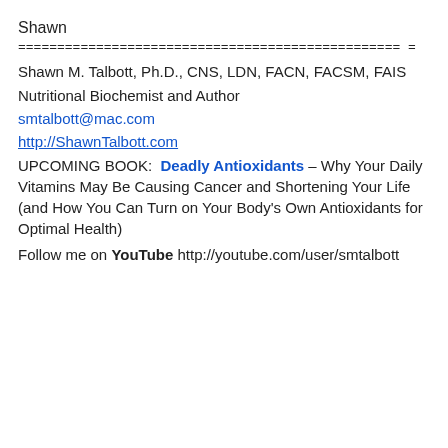Shawn
================================================= =
Shawn M. Talbott, Ph.D., CNS, LDN, FACN, FACSM, FAIS
Nutritional Biochemist and Author
smtalbott@mac.com
http://ShawnTalbott.com
UPCOMING BOOK: Deadly Antioxidants – Why Your Daily Vitamins May Be Causing Cancer and Shortening Your Life (and How You Can Turn on Your Body's Own Antioxidants for Optimal Health)
Follow me on YouTube http://youtube.com/user/smtalbott